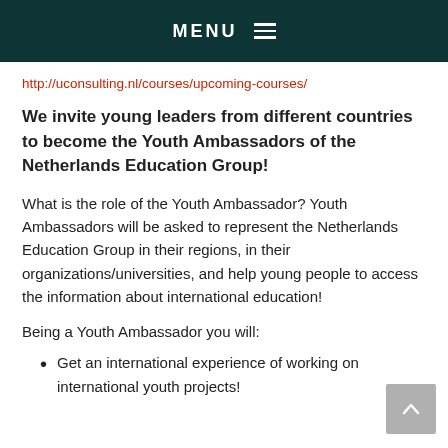MENU ≡
http://uconsulting.nl/courses/upcoming-courses/
We invite young leaders from different countries to become the Youth Ambassadors of the Netherlands Education Group!
What is the role of the Youth Ambassador? Youth Ambassadors will be asked to represent the Netherlands Education Group in their regions, in their organizations/universities, and help young people to access the information about international education!
Being a Youth Ambassador you will:
Get an international experience of working on international youth projects!